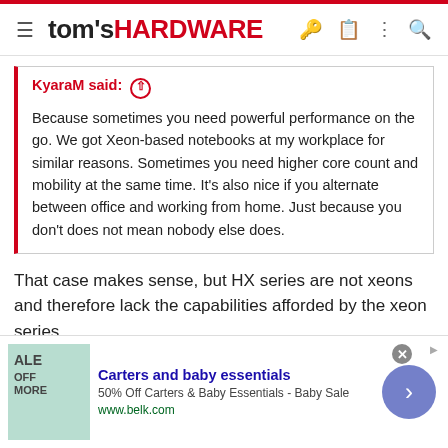tom's HARDWARE
KyaraM said: ↑

Because sometimes you need powerful performance on the go. We got Xeon-based notebooks at my workplace for similar reasons. Sometimes you need higher core count and mobility at the same time. It's also nice if you alternate between office and working from home. Just because you don't does not mean nobody else does.
That case makes sense, but HX series are not xeons and therefore lack the capabilities afforded by the xeon series
martinch
Distinguished
[Figure (screenshot): Advertisement banner: Carters and baby essentials, 50% Off Carters & Baby Essentials - Baby Sale, www.belk.com]